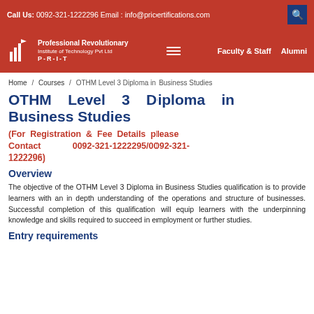Call Us: 0092-321-1222296 Email : info@pricertifications.com
[Figure (logo): P-R-I-T Professional Revolutionary Institute of Technology Pvt Ltd logo with navigation links Faculty & Staff and Alumni]
Home / Courses / OTHM Level 3 Diploma in Business Studies
OTHM Level 3 Diploma in Business Studies
(For Registration & Fee Details please Contact 0092-321-1222295/0092-321-1222296)
Overview
The objective of the OTHM Level 3 Diploma in Business Studies qualification is to provide learners with an in depth understanding of the operations and structure of businesses. Successful completion of this qualification will equip learners with the underpinning knowledge and skills required to succeed in employment or further studies.
Entry requirements